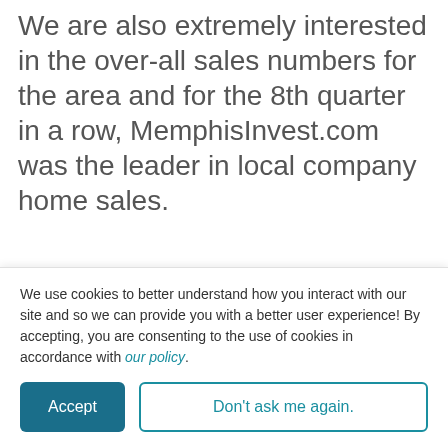We are also extremely interested in the over-all sales numbers for the area and for the 8th quarter in a row, MemphisInvest.com was the leader in local company home sales.
Topics: Memphis cash flow · Discount investment property · Memphis foreclosures · Memphis Investment Property · Wholesale Properties in Memphis · Buy & Hold Strategy · Brett Clothier · investing in Memphis real estate · Mara Cobb
We use cookies to better understand how you interact with our site and so we can provide you with a better user experience! By accepting, you are consenting to the use of cookies in accordance with our policy.